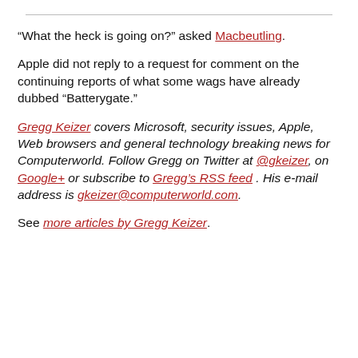“What the heck is going on?” asked Macbeutling.
Apple did not reply to a request for comment on the continuing reports of what some wags have already dubbed “Batterygate.”
Gregg Keizer covers Microsoft, security issues, Apple, Web browsers and general technology breaking news for Computerworld. Follow Gregg on Twitter at @gkeizer, on Google+ or subscribe to Gregg’s RSS feed . His e-mail address is gkeizer@computerworld.com.
See more articles by Gregg Keizer.